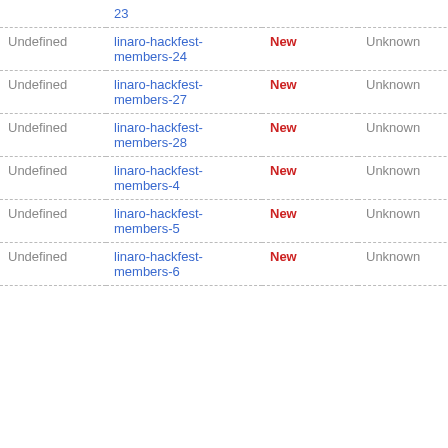|  | 23 |  |  |
| Undefined | linaro-hackfest-members-24 | New | Unknown |
| Undefined | linaro-hackfest-members-27 | New | Unknown |
| Undefined | linaro-hackfest-members-28 | New | Unknown |
| Undefined | linaro-hackfest-members-4 | New | Unknown |
| Undefined | linaro-hackfest-members-5 | New | Unknown |
| Undefined | linaro-hackfest-members-6 | New | Unknown |